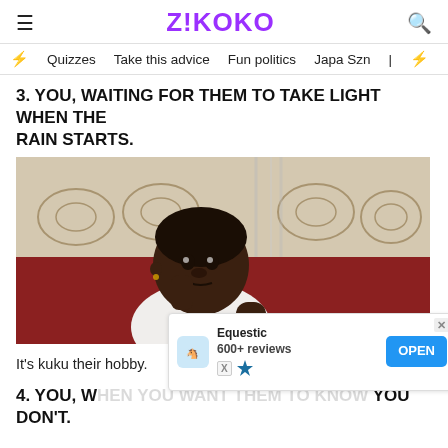Z!KOKO
Quizzes  Take this advice  Fun politics  Japa Szn
3. YOU, WAITING FOR THEM TO TAKE LIGHT WHEN THE RAIN STARTS.
[Figure (photo): A young child sitting on a sofa with a lace cover, resting chin on hand with a thoughtful expression, wearing a white shirt. Vintage-style photo.]
It's kuku their hobby.
4. YOU, WHEN YOU WANT THEM TO KNOW YOU DON'T.